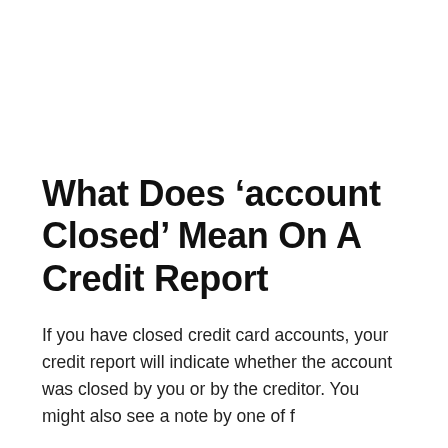What Does ‘account Closed’ Mean On A Credit Report
If you have closed credit card accounts, your credit report will indicate whether the account was closed by you or by the creditor. You might also see a note by one of f